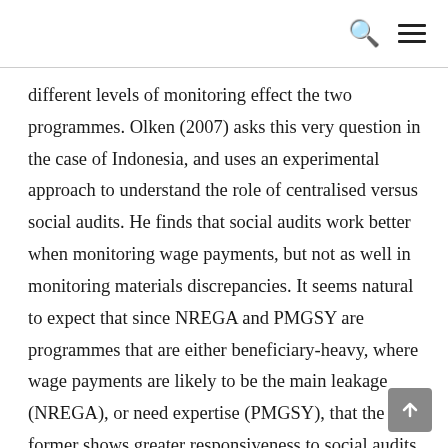different levels of monitoring effect the two programmes. Olken (2007) asks this very question in the case of Indonesia, and uses an experimental approach to understand the role of centralised versus social audits. He finds that social audits work better when monitoring wage payments, but not as well in monitoring materials discrepancies. It seems natural to expect that since NREGA and PMGSY are programmes that are either beneficiary-heavy, where wage payments are likely to be the main leakage (NREGA), or need expertise (PMGSY), that the former shows greater responsiveness to social audits and the latter requires more expert audits.  But is this really